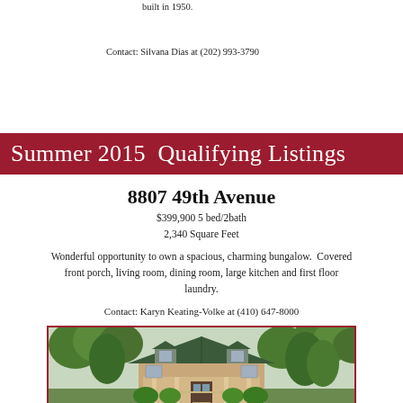built in 1950.
bath with whirlpool tub. Off-street pa yard, shed in rear.
Contact: Silvana Dias at (202) 993-3790
Contact: Karyn Keating-Volke at (4…
Summer 2015  Qualifying Listings
8807 49th Avenue
$399,900 5 bed/2bath
2,340 Square Feet
Wonderful opportunity to own a spacious, charming bungalow. Covered front porch, living room, dining room, large kitchen and first floor laundry.
Contact: Karyn Keating-Volke at (410) 647-8000
[Figure (photo): Exterior photo of a bungalow house with covered front porch, green metal roof, surrounded by trees and shrubs]